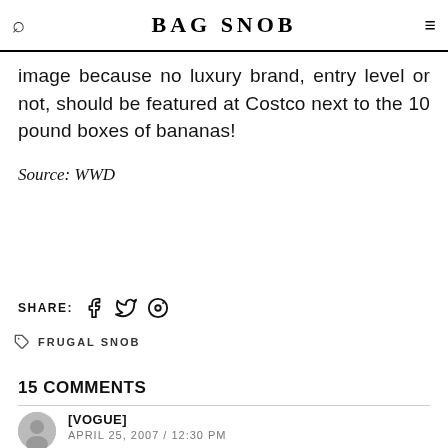BAG SNOB
image because no luxury brand, entry level or not, should be featured at Costco next to the 10 pound boxes of bananas!
Source: WWD
SHARE:
FRUGAL SNOB
15 COMMENTS
[VOGUE]
APRIL 25, 2007 / 12:30 PM